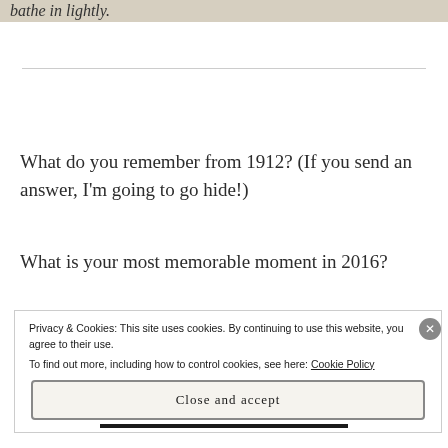[Figure (screenshot): Top partial image showing text 'bathe in lightly.' on a beige/tan background]
What do you remember from 1912? (If you send an answer, I'm going to go hide!)
What is your most memorable moment in 2016?
Privacy & Cookies: This site uses cookies. By continuing to use this website, you agree to their use.
To find out more, including how to control cookies, see here: Cookie Policy
Close and accept